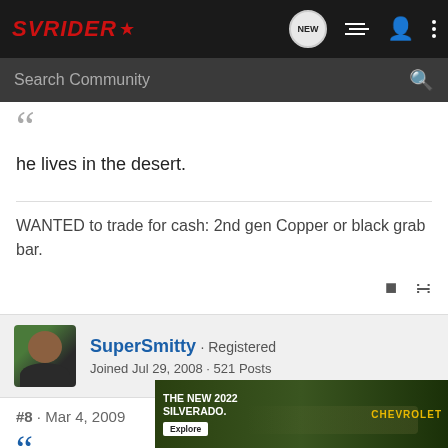SVRIDER
he lives in the desert.
WANTED to trade for cash: 2nd gen Copper or black grab bar.
SuperSmitty · Registered
Joined Jul 29, 2008 · 521 Posts
#8 · Mar 4, 2009
[Figure (screenshot): Chevrolet 2022 Silverado advertisement banner at bottom of page]